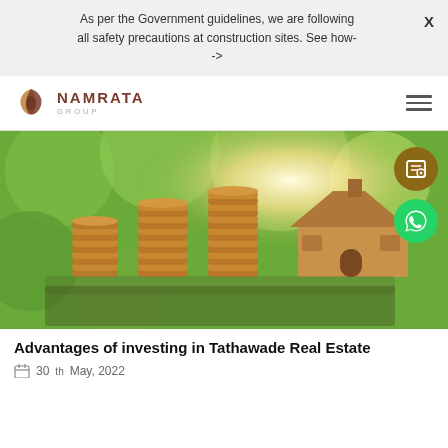As per the Government guidelines, we are following all safety precautions at construction sites. See how- ->
[Figure (logo): Namrata Group logo with twisted leaf icon and company name]
[Figure (photo): Photo of stacked coins and a wooden house model on green bokeh background]
Advantages of investing in Tathawade Real Estate
30th May, 2022